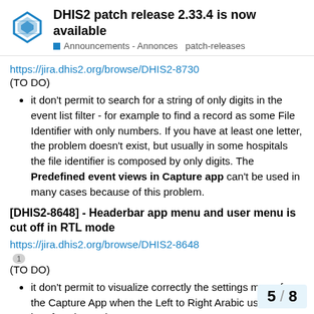DHIS2 patch release 2.33.4 is now available
Announcements - Annonces  patch-releases
https://jira.dhis2.org/browse/DHIS2-8730
(TO DO)
it don't permit to search for a string of only digits in the event list filter - for example to find a record as some File Identifier with only numbers. If you have at least one letter, the problem doesn't exist, but usually in some hospitals the file identifier is composed by only digits. The Predefined event views in Capture app can't be used in many cases because of this problem.
[DHIS2-8648] - Headerbar app menu and user menu is cut off in RTL mode
https://jira.dhis2.org/browse/DHIS2-8648
(TO DO)
it don't permit to visualize correctly the settings menu from the Capture App when the Left to Right Arabic user interface is used.